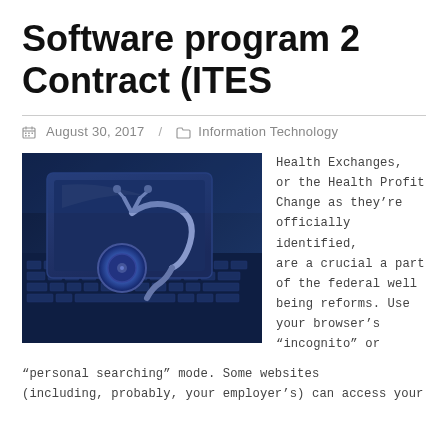Software program 2 Contract (ITES
August 30, 2017  /  Information Technology
[Figure (photo): A stethoscope resting on a tablet computer on a laptop keyboard, with blue tones.]
Health Exchanges, or the Health Profit Change as they’re officially identified, are a crucial a part of the federal well being reforms. Use your browser’s “incognito” or “personal searching” mode. Some websites (including, probably, your employer’s) can access your